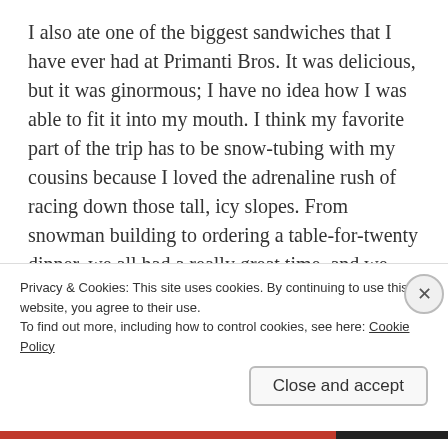I also ate one of the biggest sandwiches that I have ever had at Primanti Bros. It was delicious, but it was ginormous; I have no idea how I was able to fit it into my mouth. I think my favorite part of the trip has to be snow-tubing with my cousins because I loved the adrenaline rush of racing down those tall, icy slopes. From snowman building to ordering a table-for-twenty dinner, we all had a really great time, and we certainly filled this Christmas with many memories.
Have you traveled anywhere recently? How was your holiday? I am super behind on the Reader, but I will try to
Privacy & Cookies: This site uses cookies. By continuing to use this website, you agree to their use.
To find out more, including how to control cookies, see here: Cookie Policy